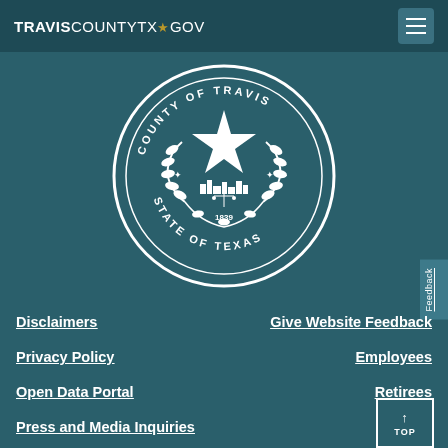TRAVISCOUNTYTX★GOV
[Figure (logo): County of Travis, State of Texas official seal — circular seal with a five-pointed star in the center, laurel wreath, city skyline, and '1839' with text reading 'COUNTY OF TRAVIS' and 'STATE OF TEXAS']
Disclaimers
Give Website Feedback
Privacy Policy
Employees
Open Data Portal
Retirees
Press and Media Inquiries
Feedback
↑ TOP